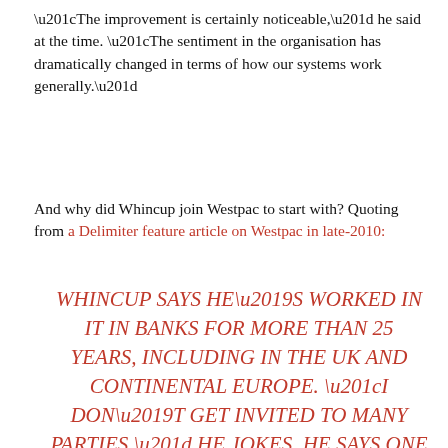“The improvement is certainly noticeable,” he said at the time. “The sentiment in the organisation has dramatically changed in terms of how our systems work generally.”
And why did Whincup join Westpac to start with? Quoting from a Delimiter feature article on Westpac in late-2010:
WHINCUP SAYS HE’S WORKED IN IT IN BANKS FOR MORE THAN 25 YEARS, INCLUDING IN THE UK AND CONTINENTAL EUROPE. “I DON’T GET INVITED TO MANY PARTIES,” HE JOKES. HE SAYS ONE OF THE THINGS HE GETS ASKED A LOT — EVEN BY HIS KIDS — IS WHY HE’S IN AUSTRALIA, AND WHY WITH